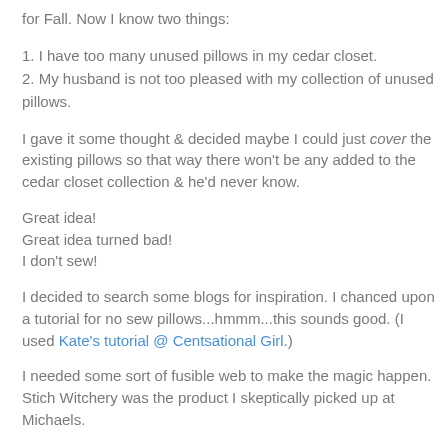for Fall. Now I know two things:
1. I have too many unused pillows in my cedar closet.
2. My husband is not too pleased with my collection of unused pillows.
I gave it some thought & decided maybe I could just cover the existing pillows so that way there won't be any added to the cedar closet collection & he'd never know.
Great idea!
Great idea turned bad!
I don't sew!
I decided to search some blogs for inspiration. I chanced upon a tutorial for no sew pillows...hmmm...this sounds good. (I used Kate's tutorial @ Centsational Girl.)
I needed some sort of fusible web to make the magic happen. Stich Witchery was the product I skeptically picked up at Michaels.